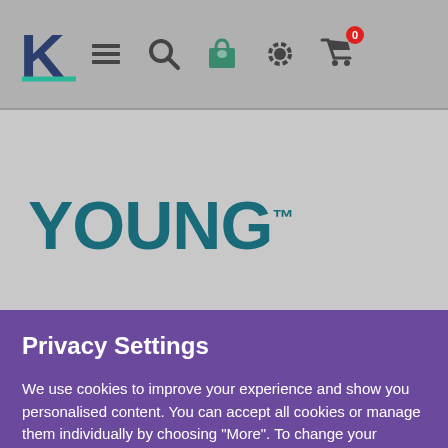[Figure (screenshot): Website navigation bar with K logo on left, hamburger menu, search, bag, gear, and cart icons on right]
[Figure (logo): YOUNG™ brand logo in teal/dark teal color on grey background]
Privacy Settings
We use cookies to improve your experience and show you personalised content. You can accept all cookies or manage them individually by choosing "More". To change your settings, click the fingerprint icon at any time.
more
Accept All
Deny